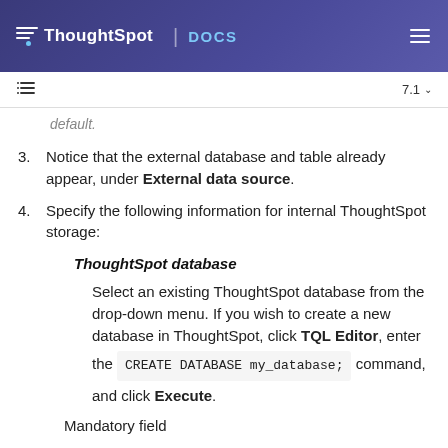ThoughtSpot DOCS
Notice that the external database and table already appear, under External data source.
Specify the following information for internal ThoughtSpot storage:
ThoughtSpot database
Select an existing ThoughtSpot database from the drop-down menu. If you wish to create a new database in ThoughtSpot, click TQL Editor, enter the CREATE DATABASE my_database; command, and click Execute.
Mandatory field